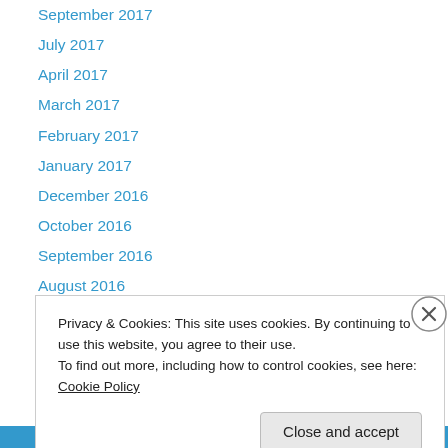September 2017
July 2017
April 2017
March 2017
February 2017
January 2017
December 2016
October 2016
September 2016
August 2016
July 2016
June 2016
May 2016
Privacy & Cookies: This site uses cookies. By continuing to use this website, you agree to their use.
To find out more, including how to control cookies, see here: Cookie Policy
Close and accept